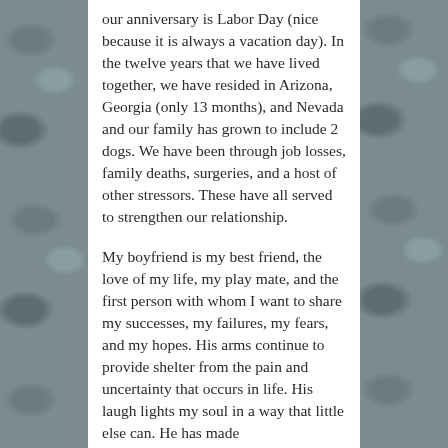[Figure (photo): Stone or pebble texture background on left and right sides of the page, gray-blue tones.]
our anniversary is Labor Day (nice because it is always a vacation day). In the twelve years that we have lived together, we have resided in Arizona, Georgia (only 13 months), and Nevada and our family has grown to include 2 dogs. We have been through job losses, family deaths, surgeries, and a host of other stressors. These have all served to strengthen our relationship.

My boyfriend is my best friend, the love of my life, my play mate, and the first person with whom I want to share my successes, my failures, my fears, and my hopes. His arms continue to provide shelter from the pain and uncertainty that occurs in life. His laugh lights my soul in a way that little else can. He has made